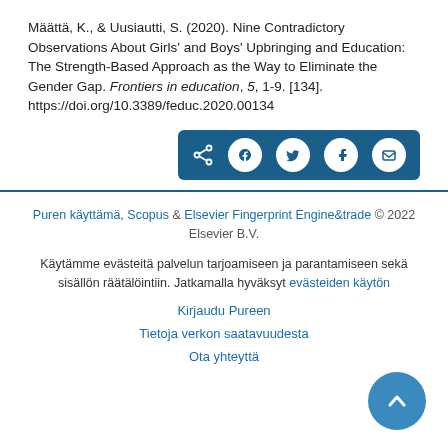Määttä, K., & Uusiautti, S. (2020). Nine Contradictory Observations About Girls' and Boys' Upbringing and Education: The Strength-Based Approach as the Way to Eliminate the Gender Gap. Frontiers in education, 5, 1-9. [134]. https://doi.org/10.3389/feduc.2020.00134
[Figure (other): Social share bar with icons for share, Facebook, Twitter, LinkedIn, and email on a dark blue background]
Puren käyttämä, Scopus & Elsevier Fingerprint Engine&trade © 2022 Elsevier B.V.
Käytämme evästeitä palvelun tarjoamiseen ja parantamiseen sekä sisällön räätälöintiin. Jatkamalla hyväksyt evästeiden käytön
Kirjaudu Pureen
Tietoja verkon saatavuudesta
Ota yhteyttä